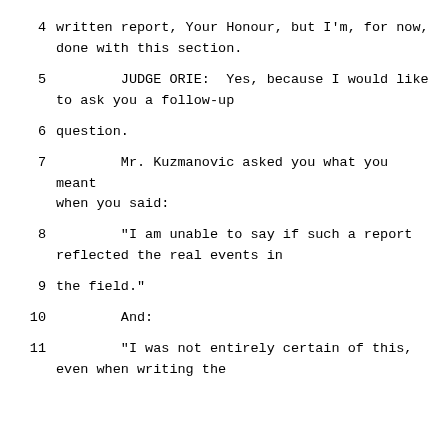4      written report, Your Honour, but I'm, for now, done with this section.
5            JUDGE ORIE:  Yes, because I would like to ask you a follow-up
6      question.
7            Mr. Kuzmanovic asked you what you meant when you said:
8            "I am unable to say if such a report reflected the real events in
9      the field."
10           And:
11           "I was not entirely certain of this, even when writing the